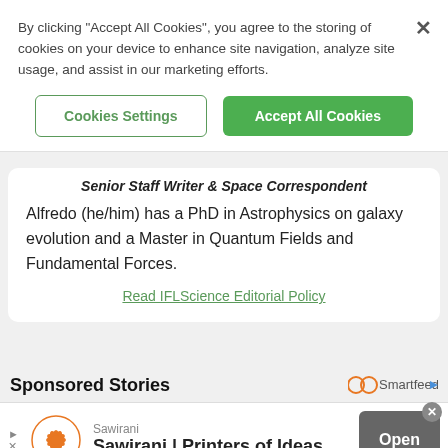By clicking "Accept All Cookies", you agree to the storing of cookies on your device to enhance site navigation, analyze site usage, and assist in our marketing efforts.
Cookies Settings
Accept All Cookies
Senior Staff Writer & Space Correspondent
Alfredo (he/him) has a PhD in Astrophysics on galaxy evolution and a Master in Quantum Fields and Fundamental Forces.
Read IFLScience Editorial Policy
Sponsored Stories
[Figure (logo): Smartfeed logo with infinity symbol and arrow]
Sawirani
[Figure (logo): Sawirani orange mandala/flower logo]
Sawirani | Printers of Ideas
Open